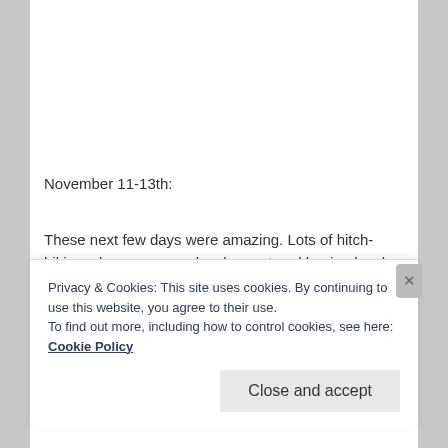November 11-13th:
These next few days were amazing. Lots of hitch-hiking, cheap empanadas, harvest and buying local clams/mussels (mariscos) and bbqing them up while watching the sunset over the pacific while sippin pisco sours, cerveza, and vino practicing Spanish. One day we hitched down to the town of Niebla and took a ferry across to the town of Corral and hitched all the way to the
Privacy & Cookies: This site uses cookies. By continuing to use this website, you agree to their use.
To find out more, including how to control cookies, see here: Cookie Policy